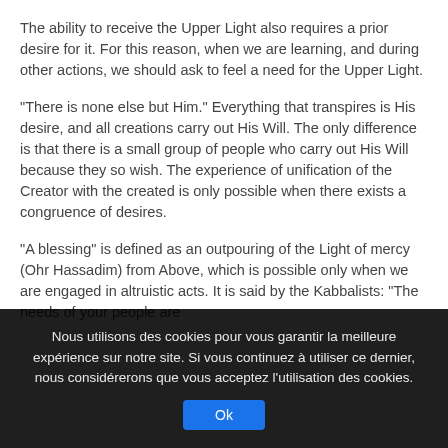The ability to receive the Upper Light also requires a prior desire for it. For this reason, when we are learning, and during other actions, we should ask to feel a need for the Upper Light.
“There is none else but Him.” Everything that transpires is His desire, and all creations carry out His Will. The only difference is that there is a small group of people who carry out His Will because they so wish. The experience of unification of the Creator with the created is only possible when there exists a congruence of desires.
“A blessing” is defined as an outpouring of the Light of mercy (Ohr Hassadim) from Above, which is possible only when we are engaged in altruistic acts. It is said by the Kabbalists: “The needs of your people are
Nous utilisons des cookies pour vous garantir la meilleure expérience sur notre site. Si vous continuez à utiliser ce dernier, nous considérerons que vous acceptez l’utilisation des cookies.